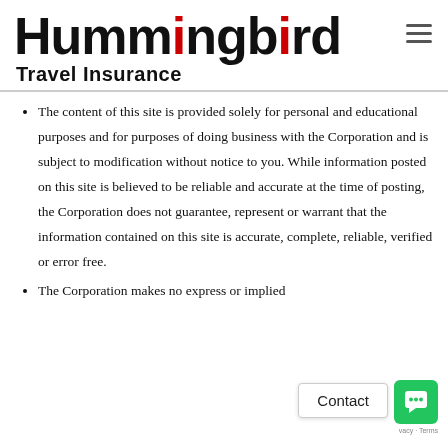Hummingbird Travel Insurance
The content of this site is provided solely for personal and educational purposes and for purposes of doing business with the Corporation and is subject to modification without notice to you. While information posted on this site is believed to be reliable and accurate at the time of posting, the Corporation does not guarantee, represent or warrant that the information contained on this site is accurate, complete, reliable, verified or error free.
The Corporation makes no express or implied